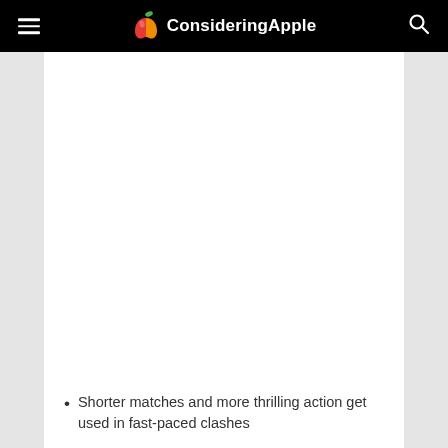ConsideringApple
[Figure (other): Large white advertisement or embedded media block (blank white rectangle)]
Shorter matches and more thrilling action get used in fast-paced clashes